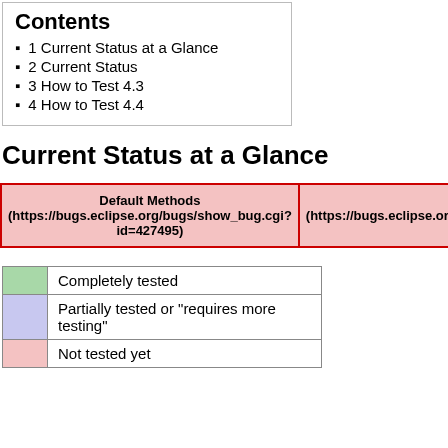1 Current Status at a Glance
2 Current Status
3 How to Test 4.3
4 How to Test 4.4
Current Status at a Glance
| Default Methods (https://bugs.eclipse.org/bugs/show_bug.cgi?id=427495) | Lambda (https://bugs.eclipse.org/bugs/show_bug.cgi?id=... |
| --- | --- |
|  |  |
| --- | --- |
| Completely tested |  |
| Partially tested or "requires more testing" |  |
| Not tested yet |  |